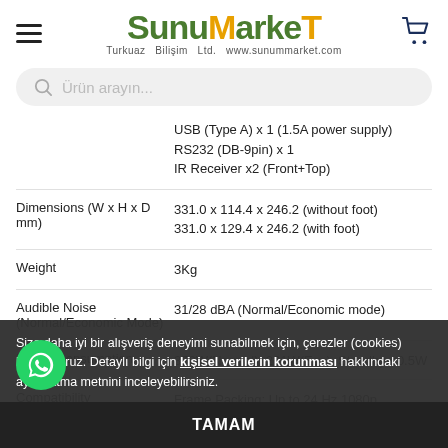[Figure (logo): SunuMarket logo with green and orange text, subtitle: Turkuaz Bilişim Ltd. www.sunummarket.com]
Ürün arayın...
| Specification | Value |
| --- | --- |
|  | USB (Type A) x 1 (1.5A power supply)
RS232 (DB-9pin) x 1
IR Receiver x2 (Front+Top) |
| Dimensions (W x H x D mm) | 331.0 x 114.4 x 246.2 (without foot)
331.0 x 129.4 x 246.2 (with foot) |
| Weight | 3Kg |
| Audible Noise (Normal/Economic Mode) | 31/28 dBA (Normal/Economic mode) |
| Power Consumption | 350W(Normal), 261W(Eco), Standby <0.5W |
| Compatibility | Frame Packing: Up to 24 Hz 1080p |
Size daha iyi bir alışveriş deneyimi sunabilmek için, çerezler (cookies) kullanıyoruz. Detaylı bilgi için kişisel verilerin korunması hakkındaki aydınlatma metnini inceleyebilirsiniz.
TAMAM